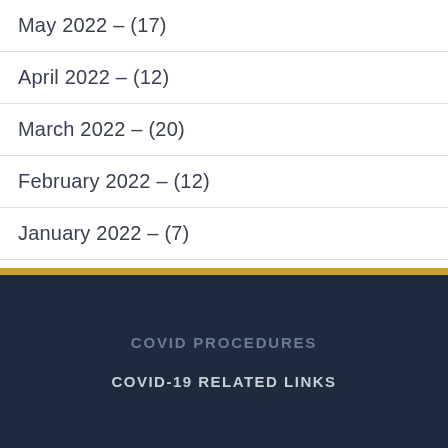May 2022 - (17)
April 2022 - (12)
March 2022 - (20)
February 2022 - (12)
January 2022 - (7)
COVID PROCEDURES
COVID-19 RELATED LINKS